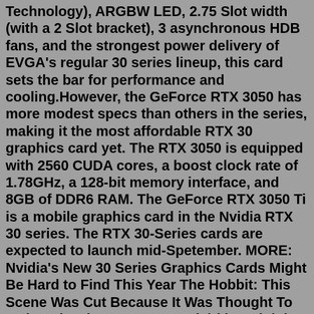Technology), ARGBW LED, 2.75 Slot width (with a 2 Slot bracket), 3 asynchronous HDB fans, and the strongest power delivery of EVGA's regular 30 series lineup, this card sets the bar for performance and cooling.However, the GeForce RTX 3050 has more modest specs than others in the series, making it the most affordable RTX 30 graphics card yet. The RTX 3050 is equipped with 2560 CUDA cores, a boost clock rate of 1.78GHz, a 128-bit memory interface, and 8GB of DDR6 RAM. The GeForce RTX 3050 Ti is a mobile graphics card in the Nvidia RTX 30 series. The RTX 30-Series cards are expected to launch mid-Spetember. MORE: Nvidia's New 30 Series Graphics Cards Might Be Hard to Find This Year The Hobbit: This Scene Was Cut Because It Was Thought To ...There is a better 12GB model (though it is too expensive) The RTX 3080 is the best graphics card out there today. Well, the 10GB one is, at its original MSRP. You might find it going for a little ...AORUS GeForce RTX™ 3080 XTREME WATERFORCE WB 10G (rev. 1.0) Compare. AORUS GeForce RTX™